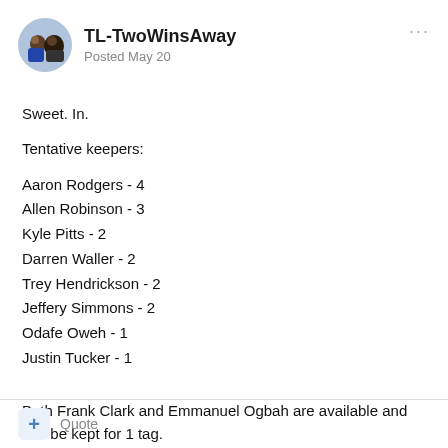TL-TwoWinsAway — Posted May 20
Sweet. In.
Tentative keepers:
Aaron Rodgers - 4
Allen Robinson - 3
Kyle Pitts - 2
Darren Waller - 2
Trey Hendrickson - 2
Jeffery Simmons - 2
Odafe Oweh - 1
Justin Tucker - 1
Both Frank Clark and Emmanuel Ogbah are available and can be kept for 1 tag.
+ Quote